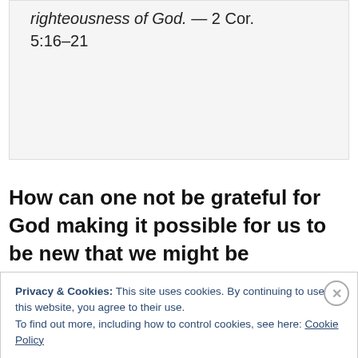righteousness of God. — 2 Cor. 5:16–21
How can one not be grateful for God making it possible for us to be new that we might be reconciled to Him? What an honor and
Privacy & Cookies: This site uses cookies. By continuing to use this website, you agree to their use. To find out more, including how to control cookies, see here: Cookie Policy
Close and accept